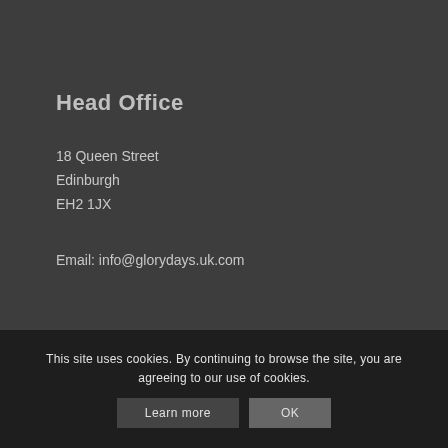Head Office
18 Queen Street
Edinburgh
EH2 1JX
Email: info@glorydays.uk.com
A Glory Days ... Glory Days Limited–
Registered in Scotland SC221398 ... istered and
ATOL 9122 ABTOT 5301 Privacy P... onditions
This site uses cookies. By continuing to browse the site, you are agreeing to our use of cookies.